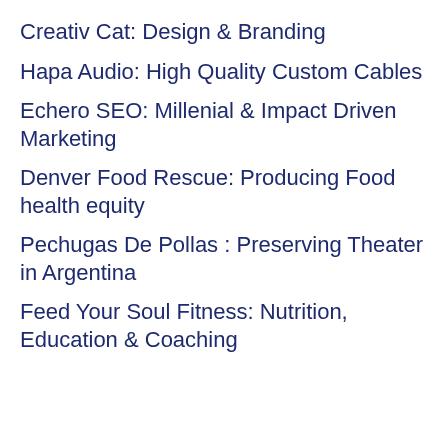Creativ Cat: Design & Branding
Hapa Audio: High Quality Custom Cables
Echero SEO: Millenial & Impact Driven Marketing
Denver Food Rescue: Producing Food health equity
Pechugas De Pollas : Preserving Theater in Argentina
Feed Your Soul Fitness: Nutrition, Education & Coaching